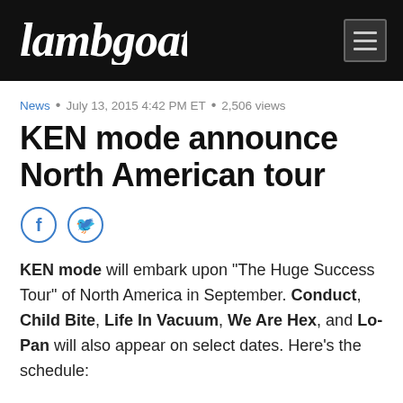Lambgoat
News • July 13, 2015 4:42 PM ET • 2,506 views
KEN mode announce North American tour
[Figure (other): Facebook and Twitter social share icon buttons]
KEN mode will embark upon "The Huge Success Tour" of North America in September. Conduct, Child Bite, Life In Vacuum, We Are Hex, and Lo-Pan will also appear on select dates. Here's the schedule: